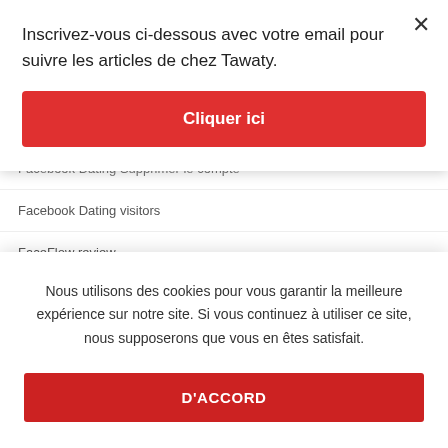Inscrivez-vous ci-dessous avec votre email pour suivre les articles de chez Tawaty.
Cliquer ici
Facebook Dating Supprimer le compte
Facebook Dating visitors
FaceFlow review
FaceFlow visitors
fairfield escort
Nous utilisons des cookies pour vous garantir la meilleure expérience sur notre site. Si vous continuez à utiliser ce site, nous supposerons que vous en êtes satisfait.
D'ACCORD
Farmers Dating reviews